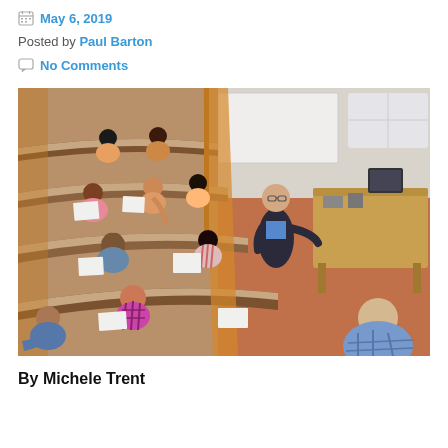May 6, 2019
Posted by Paul Barton
No Comments
[Figure (photo): Lecturer standing at the front of a tiered university lecture hall, addressing seated students from behind, with wooden desks and a podium visible.]
By Michele Trent